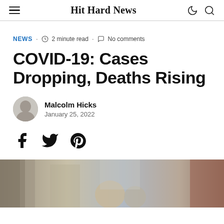Hit Hard News
NEWS · 2 minute read · No comments
COVID-19: Cases Dropping, Deaths Rising
Malcolm Hicks
January 25, 2022
[Figure (photo): Street photo showing people, partially visible at bottom of page]